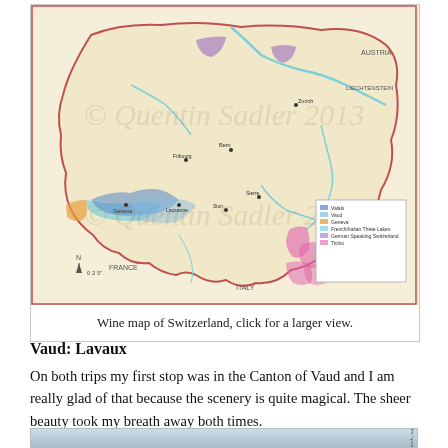[Figure (map): Wine map of Switzerland showing wine regions including Valais, Vaud, Geneva, French/Italian Three Lakes, German Speaking Switzerland areas, and Ticino. Map shows country borders with France, Italy, Austria, and Liechtenstein. Watermark: © Quentin Sadler 2013.]
Wine map of Switzerland, click for a larger view.
Vaud: Lavaux
On both trips my first stop was in the Canton of Vaud and I am really glad of that because the scenery is quite magical. The sheer beauty took my breath away both times.
[Figure (photo): Partial photo showing a lake or water body with pale blue-grey tones, with vertical text on right edge reading 'Quentin Sadler / quentinsadler.com']